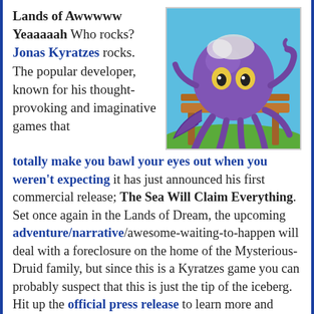Lands of Awwwww Yeaaaaah Who rocks? Jonas Kyratzes rocks. The popular developer, known for his thought-provoking and imaginative games that totally make you bawl your eyes out when you weren't expecting it has just announced his first commercial release; The Sea Will Claim Everything. Set once again in the Lands of Dream, the upcoming adventure/narrative/awesome-waiting-to-happen will deal with a foreclosure on the home of the Mysterious-Druid family, but since this is a Kyratzes game you can probably suspect that this is just the tip of the iceberg. Hit up the official press release to learn more and check out some screenshots... you can be bet I'm going to be first in line when pre-orders hit!
[Figure (illustration): Cartoon illustration of a large purple octopus sitting on a wooden bench outdoors, with a blue sky and green ground in the background.]